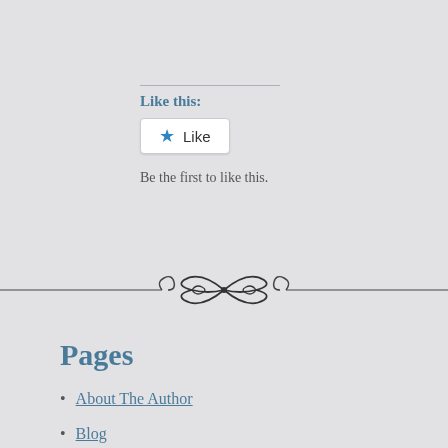Like this:
[Figure (other): Like button widget with star icon]
Be the first to like this.
[Figure (illustration): Decorative ornamental divider with scrollwork and floral motifs]
Pages
About The Author
Blog